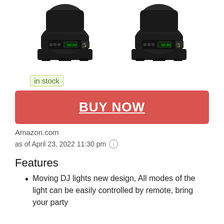[Figure (photo): Two black moving DJ light fixtures shown from the back, side by side]
in stock
BUY NOW
Amazon.com
as of April 23, 2022 11:30 pm ⓘ
Features
Moving DJ lights new design, All modes of the light can be easily controlled by remote, bring your party